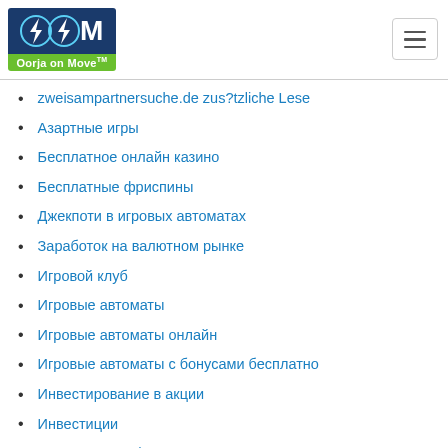Oorja on Move
zweisampartnersuche.de zus?tzliche Lese
Азартные игры
Бесплатное онлайн казино
Бесплатные фриспины
Джекпоти в игровых автоматах
Заработок на валютном рынке
Игровой клуб
Игровые автоматы
Игровые автоматы онлайн
Игровые автоматы с бонусами бесплатно
Инвестирование в акции
Инвестиции
Инвестиции в форекс
Интернет заработок
Ігровий автомат